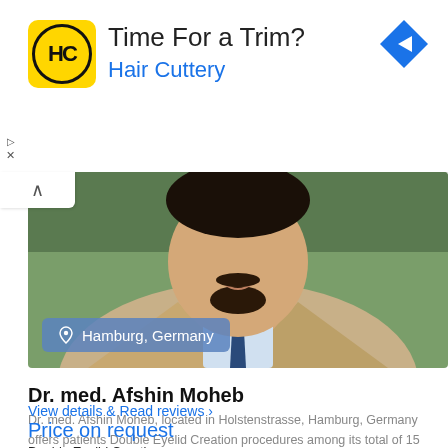[Figure (other): Hair Cuttery advertisement banner with yellow logo, 'Time For a Trim?' headline, 'Hair Cuttery' subtext in blue, and a blue diamond navigation arrow icon on the right]
[Figure (photo): Photo of Dr. med. Afshin Moheb, a man in a beige suit and blue tie, with a goatee, smiling, with green background. Overlay badge shows 'Hamburg, Germany' with a location pin icon.]
Dr. med. Afshin Moheb
Dr. med. Afshin Moheb, located in Holstenstrasse, Hamburg, Germany offers patients Double Eyelid Creation procedures among its total of 15 available procedures, across 3 different
View details & Read reviews ›
Price on request
Double Eyelid Creation